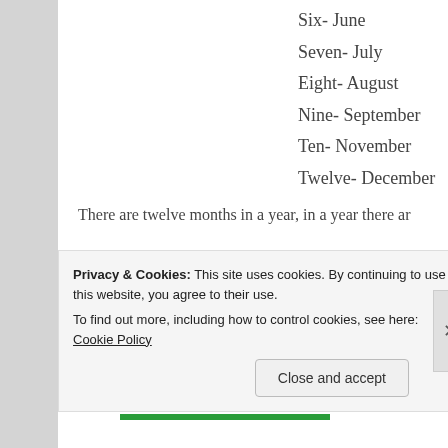Six- June
Seven- July
Eight- August
Nine- September
Ten- November
Twelve- December
There are twelve months in a year, in a year there ar
Privacy & Cookies: This site uses cookies. By continuing to use this website, you agree to their use.
To find out more, including how to control cookies, see here: Cookie Policy
Close and accept